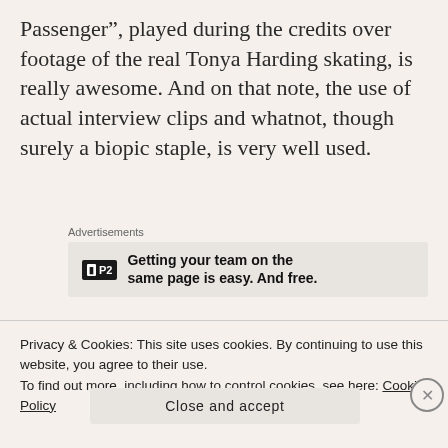Passenger”, played during the credits over footage of the real Tonya Harding skating, is really awesome. And on that note, the use of actual interview clips and whatnot, though surely a biopic staple, is very well used.
Advertisements
[Figure (screenshot): Advertisement for P2 product with logo and text: Getting your team on the same page is easy. And free.]
[Figure (photo): Photo strip showing people outdoors with trees in background]
Privacy & Cookies: This site uses cookies. By continuing to use this website, you agree to their use.
To find out more, including how to control cookies, see here: Cookie Policy
Close and accept